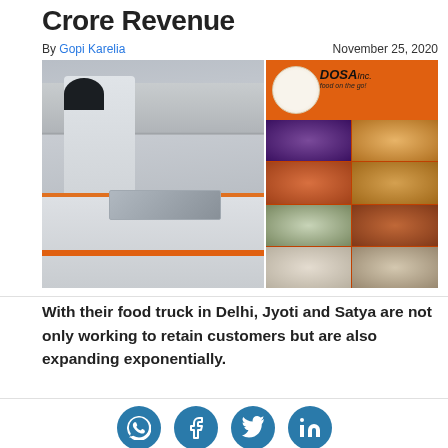Crore Revenue
By Gopi Karelia    November 25, 2020
[Figure (photo): Left: A food truck with a man in white shirt and black cap working at it. Right: Orange Dosa Inc. branded panel with food photo grid collage.]
With their food truck in Delhi, Jyoti and Satya are not only working to retain customers but are also expanding exponentially.
[Figure (infographic): Social share icons: WhatsApp, Facebook, Twitter, LinkedIn — teal/blue circular buttons]